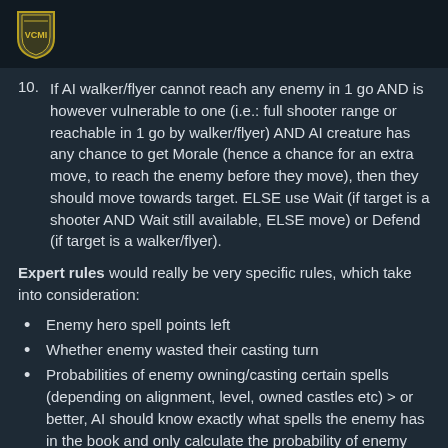VCMI
10. If AI walker/flyer cannot reach any enemy in 1 go AND is however vulnerable to one (i.e.: full shooter range or reachable in 1 go by walker/flyer) AND AI creature has any chance to get Morale (hence a chance for an extra move, to reach the enemy before they move), then they should move towards target. ELSE use Wait (if target is a shooter AND Wait still available, ELSE move) or Defend (if target is a walker/flyer).
Expert rules would really be very specific rules, which take into consideration:
Enemy hero spell points left
Whether enemy wasted their casting turn
Probabilities of enemy owning/casting certain spells (depending on alignment, level, owned castles etc) > or better, AI should know exactly what spells the enemy has in the book and only calculate the probability of enemy choosing one spell or another